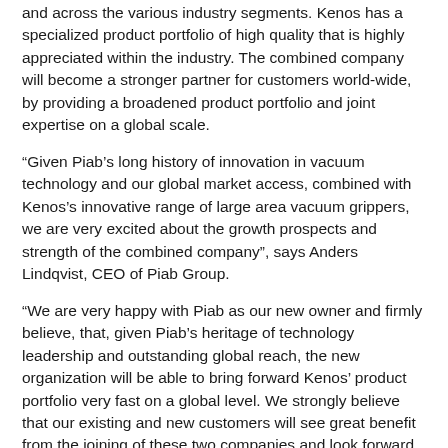and across the various industry segments. Kenos has a specialized product portfolio of high quality that is highly appreciated within the industry. The combined company will become a stronger partner for customers world-wide, by providing a broadened product portfolio and joint expertise on a global scale.
“Given Piab’s long history of innovation in vacuum technology and our global market access, combined with Kenos’s innovative range of large area vacuum grippers, we are very excited about the growth prospects and strength of the combined company”, says Anders Lindqvist, CEO of Piab Group.
“We are very happy with Piab as our new owner and firmly believe, that, given Piab’s heritage of technology leadership and outstanding global reach, the new organization will be able to bring forward Kenos’ product portfolio very fast on a global level. We strongly believe that our existing and new customers will see great benefit from the joining of these two companies and look forward to continuing to work with the combined group”, says Paolo Valentini, CEO of Kenos.
The transaction took place on the 29th of June 2016.